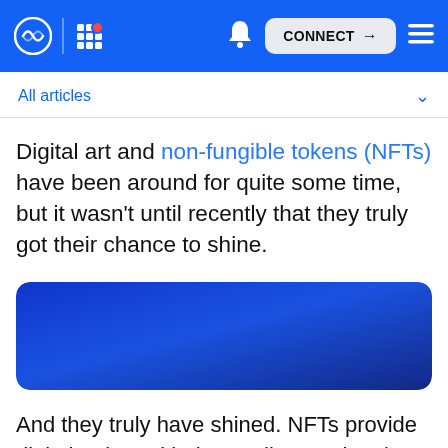CONNECT
All articles
Digital art and non-fungible tokens (NFTs) have been around for quite some time, but it wasn't until recently that they truly got their chance to shine.
[Figure (illustration): Blue gradient banner image, decorative]
And they truly have shined. NFTs provide digital artists with the medium and tools to demonstrate their passion and talents, even those denounced in the traditional, mainstream art world.